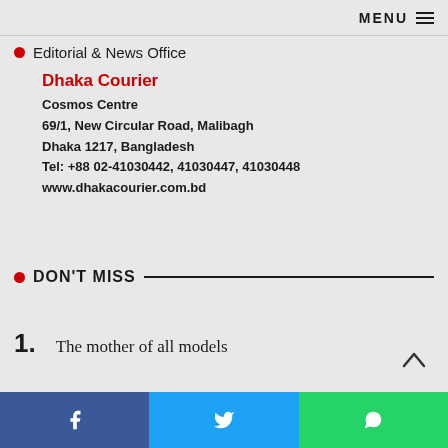MENU
Editorial & News Office
Dhaka Courier
Cosmos Centre
69/1, New Circular Road, Malibagh
Dhaka 1217, Bangladesh
Tel: +88 02-41030442, 41030447, 41030448
www.dhakacourier.com.bd
DON'T MISS
1.  The mother of all models